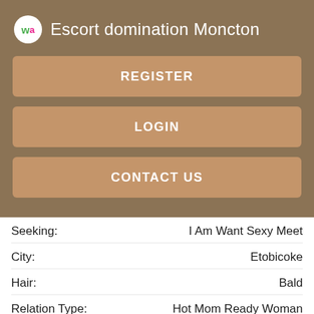Escort domination Moncton
REGISTER
LOGIN
CONTACT US
| Field | Value |
| --- | --- |
| Seeking: | I Am Want Sexy Meet |
| City: | Etobicoke |
| Hair: | Bald |
| Relation Type: | Hot Mom Ready Woman Want To Fuck |
Views: 3582